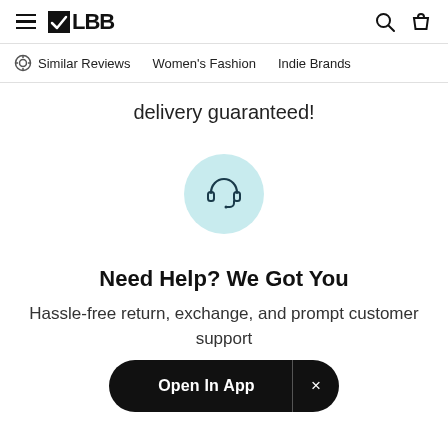≡ LBB | Similar Reviews | Women's Fashion | Indie Brands
delivery guaranteed!
[Figure (illustration): Customer support headset icon inside a light teal/mint circle]
Need Help? We Got You
Hassle-free return, exchange, and prompt customer support
Open In App  ×